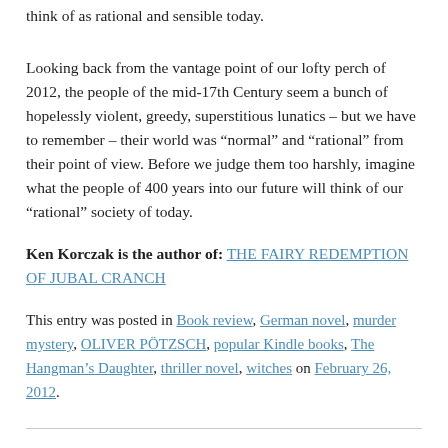think of as rational and sensible today.
Looking back from the vantage point of our lofty perch of 2012, the people of the mid-17th Century seem a bunch of hopelessly violent, greedy, superstitious lunatics – but we have to remember – their world was “normal” and “rational” from their point of view. Before we judge them too harshly, imagine what the people of 400 years into our future will think of our “rational” society of today.
Ken Korczak is the author of: THE FAIRY REDEMPTION OF JUBAL CRANCH
This entry was posted in Book review, German novel, murder mystery, OLIVER PÖTZSCH, popular Kindle books, The Hangman's Daughter, thriller novel, witches on February 26, 2012.